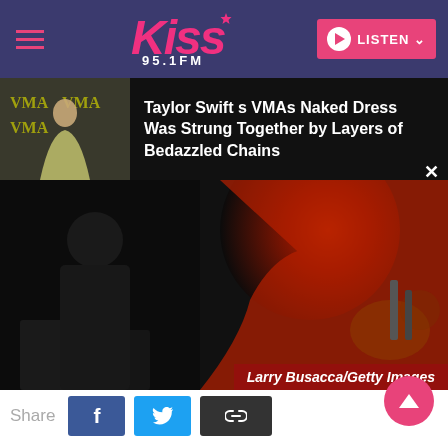[Figure (screenshot): Kiss 95.1 FM radio station website header navigation bar with hamburger menu, Kiss 95.1 FM logo in pink/white, and pink LISTEN button with play icon]
[Figure (screenshot): Promotional banner strip showing Taylor Swift in a sparkly outfit at VMAs on left, with text headline on right on dark background]
Taylor Swift s VMAs Naked Dress Was Strung Together by Layers of Bedazzled Chains
[Figure (photo): Blake Shelton in black suit and woman in red dress at 2016 Pre-GRAMMY Gala. Photo credit: Larry Busacca/Getty Images]
Larry Busacca/Getty Images
Share
Blake Shelton (L) and Gwen Stefani attend the 2016 Pre-GRAMMY Gala and Salute to Industry Icons honoring Irving Azoff at The Beverly